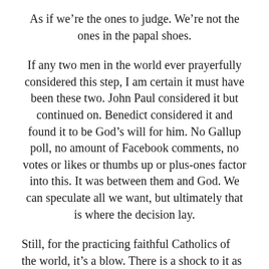As if we’re the ones to judge. We’re not the ones in the papal shoes.
If any two men in the world ever prayerfully considered this step, I am certain it must have been these two. John Paul considered it but continued on. Benedict considered it and found it to be God’s will for him. No Gallup poll, no amount of Facebook comments, no votes or likes or thumbs up or plus-ones factor into this. It was between them and God. We can speculate all we want, but ultimately that is where the decision lay.
Still, for the practicing faithful Catholics of the world, it’s a blow. There is a shock to it as well.